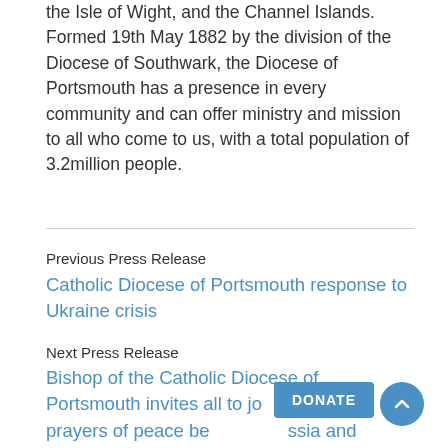the Isle of Wight, and the Channel Islands. Formed 19th May 1882 by the division of the Diocese of Southwark, the Diocese of Portsmouth has a presence in every community and can offer ministry and mission to all who come to us, with a total population of 3.2million people.
Previous Press Release
Catholic Diocese of Portsmouth response to Ukraine crisis
Next Press Release
Bishop of the Catholic Diocese of Portsmouth invites all to join the call for prayers of peace between Russia and Ukraine